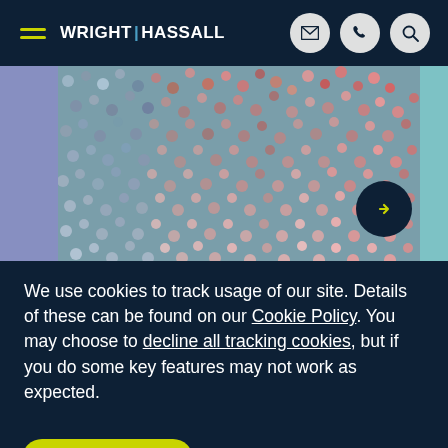WRIGHT HASSALL — navigation header with hamburger menu, logo, email, phone, and search icons
[Figure (photo): Aerial view of a large crowd of people, colorful, viewed from above. Left side has a muted purple/blue sidebar, right side has a teal/mint sidebar. A dark navy circle with a yellow right-arrow is overlaid on the lower right of the image.]
We use cookies to track usage of our site. Details of these can be found on our Cookie Policy. You may choose to decline all tracking cookies, but if you do some key features may not work as expected.
AGREE & CLOSE